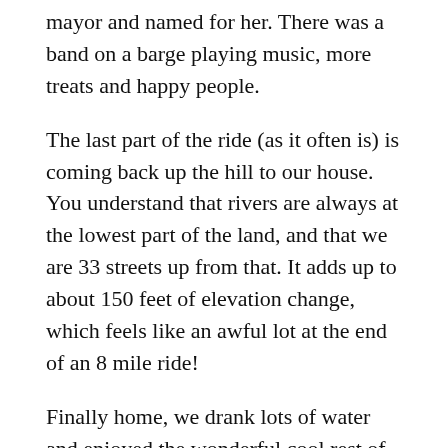mayor and named for her. There was a band on a barge playing music, more treats and happy people.
The last part of the ride (as it often is) is coming back up the hill to our house. You understand that rivers are always at the lowest part of the land, and that we are 33 streets up from that. It adds up to about 150 feet of elevation change, which feels like an awful lot at the end of an 8 mile ride!
Finally home, we drank lots of water and enjoyed the wonderful cool rest of knowing we had done something very special, and very Portland.